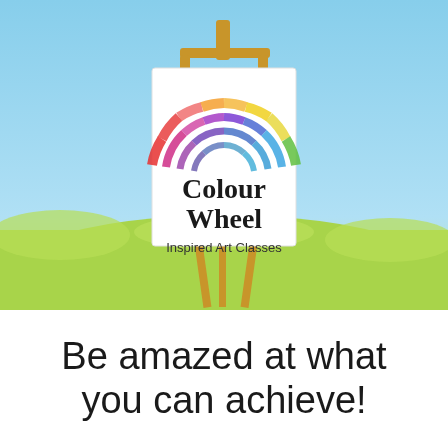[Figure (illustration): An artist's easel on a green grassy field with a light blue sky background. On the easel is a white canvas sign displaying a colorful semi-circular colour wheel arc made of small colour swatches in rainbow colours, along with the text 'Colour Wheel' in large dark serif font and 'Inspired Art Classes' in smaller sans-serif text below.]
Be amazed at what you can achieve!